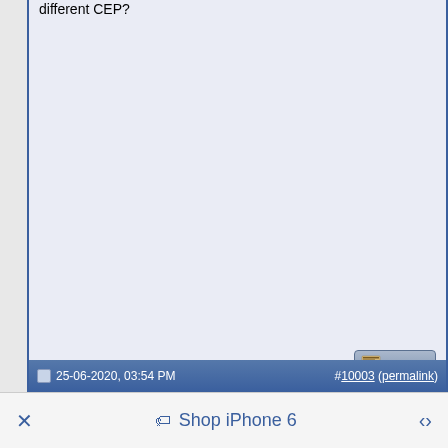different CEP?
25-06-2020, 03:54 PM
#10003 (permalink)
Shop iPhone 6